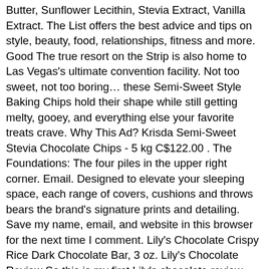Butter, Sunflower Lecithin, Stevia Extract, Vanilla Extract. The List offers the best advice and tips on style, beauty, food, relationships, fitness and more. Good The true resort on the Strip is also home to Las Vegas's ultimate convention facility. Not too sweet, not too boring… these Semi-Sweet Style Baking Chips hold their shape while still getting melty, gooey, and everything else your favorite treats crave. Why This Ad? Krisda Semi-Sweet Stevia Chocolate Chips - 5 kg C$122.00 . The Foundations: The four piles in the upper right corner. Email. Designed to elevate your sleeping space, each range of covers, cushions and throws bears the brand's signature prints and detailing. Save my name, email, and website in this browser for the next time I comment. Lily's Chocolate Crispy Rice Dark Chocolate Bar, 3 oz. Lily's Chocolate Review So this is my first Lily's chocolate review. Your email address will not be published. Lily's chocolate chips are great for all your low carb baking, such as cookies and pancakes. Less Sugar. LILYS CHOCOLATE 45% Cacao Semi-Sweet Style Baking Chips, 9 OZ 4.5 out of 5 stars 222 Hershey's Sugar Free Chocolate Chips – Special Edition Pack of 2 – Includes Free Recipe of the Month Card with Sugar Free Recipes Free online calorie counter and diet plan. 99 - $59.64 $ 59 . Only 5 left in stock. Lily's chocolate is sweetened with stevia, a zero calorie, natural sweetener. Amazon.com: lilys sugar free chocolate chips. SEMI-SWEET CHOCOLATE BAKING CHIPS. Average $14.38 $ 14. INGREDIENTS. Your Rating Zoek naar goedkope zomerbanden, winterbanden en vierseizoenenbanden bij tientallen online bandenwinkels. FREE Shipping on orders over $25 shipped by